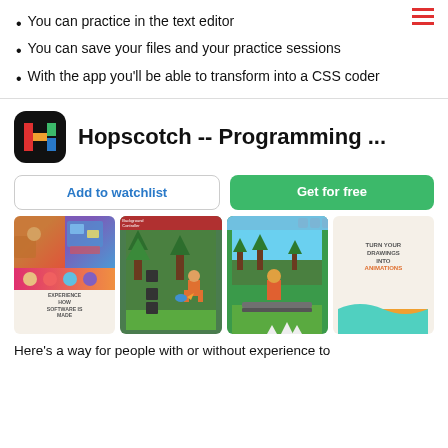You can practice in the text editor
You can save your files and your practice sessions
With the app you'll be able to transform into a CSS coder
[Figure (logo): Hopscotch app icon — black rounded square with colorful H]
Hopscotch -- Programming ...
Add to watchlist
Get for free
[Figure (screenshot): Four app screenshots showing the Hopscotch programming app interface with games and animations]
Here's a way for people with or without experience to